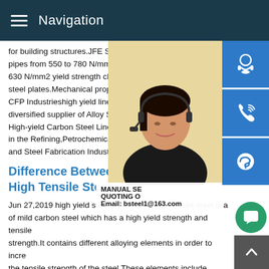Navigation
for building structures.JFE Steel has deve pipes from 550 to 780 N/mm2 tensile stre 630 N/mm2 yield strength class) by applyi steel plates.Mechanical properties of theH CFP Industrieshigh yield line pipe CFP INI diversified supplier of Alloy Steel Pipe,Fla High-yield Carbon Steel Line Pipe; and Pr in the Refining,Petrochemical,Power,Oil G and Steel Fabrication Industries.
[Figure (photo): Woman with headset, customer service representative photo]
[Figure (infographic): Side panel with blue icons: headset/customer service, phone/call, Skype icons]
MANUAL SE QUOTING O Email: bsteel1@163.com
Difference Between Mild Steel and High Tensile Steel
Jun 27,2019 high yield steel pipe#0183;High tensile steel is a of mild carbon steel which has a high yield strength and tensile strength.It contains different alloying elements in order to incre the tensile strength of the steel.These elements include